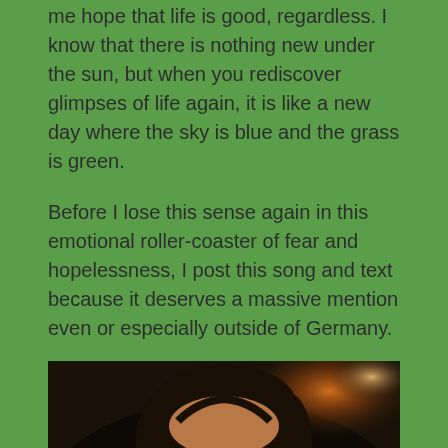me hope that life is good, regardless. I know that there is nothing new under the sun, but when you rediscover glimpses of life again, it is like a new day where the sky is blue and the grass is green.
Before I lose this sense again in this emotional roller-coaster of fear and hopelessness, I post this song and text because it deserves a massive mention even or especially outside of Germany.
[Figure (photo): Portrait photograph of a young man with dark hair, looking directly at the camera, dark background with warm light bokeh in the upper right]